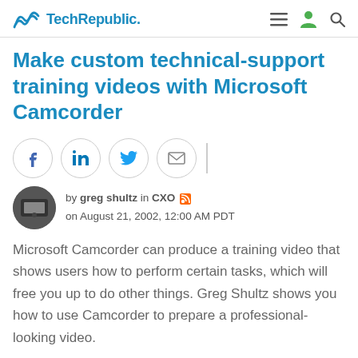TechRepublic.
Make custom technical-support training videos with Microsoft Camcorder
[Figure (infographic): Social sharing buttons: Facebook, LinkedIn, Twitter, Email]
by greg shultz in CXO on August 21, 2002, 12:00 AM PDT
Microsoft Camcorder can produce a training video that shows users how to perform certain tasks, which will free you up to do other things. Greg Shultz shows you how to use Camcorder to prepare a professional-looking video.